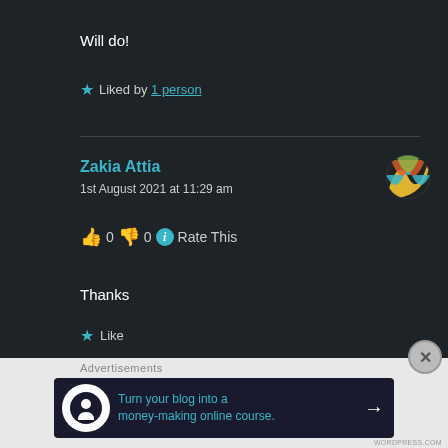Will do!
★ Liked by 1 person
Zakia Attia
1st August 2021 at 11:29 am
👍 0 👎 0 ℹ Rate This
Thanks
★ Like
Advertisements
[Figure (infographic): Advertisement banner: Turn your blog into a money-making online course. Arrow → on dark background.]